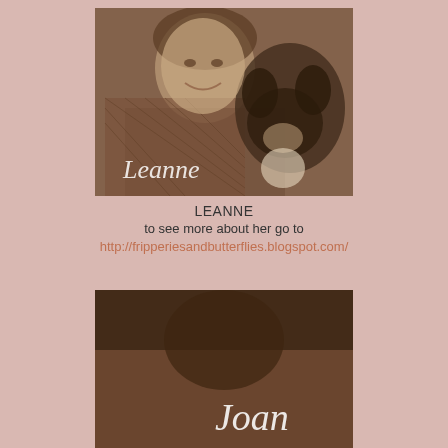[Figure (photo): Sepia-toned photo of a woman smiling holding a Scottish Terrier dog, with the name 'Leanne' overlaid in white serif text at the bottom left]
LEANNE
to see more about her go to
http://fripperiesandbutterflies.blogspot.com/
[Figure (photo): Sepia-toned photo partially visible showing the name 'Joan' in white serif text overlay]